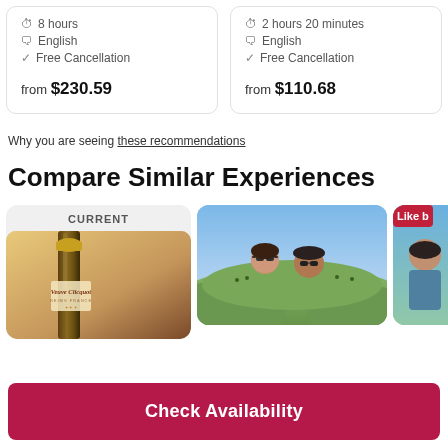⏱ 8 hours  ✉ English  ✓ Free Cancellation  from $230.59
⏱ 2 hours 20 minutes  ✉ English  ✓ Free Cancellation  from $110.68
Why you are seeing these recommendations
Compare Similar Experiences
[Figure (photo): Current experience card showing Veuve Clicquot champagne bottle label with golden foil top on warm background]
[Figure (photo): Two people smiling outdoors with scenic countryside/hills in background under blue sky]
[Figure (photo): Partial image of person outdoors with 'Like' badge overlay in red]
Check Availability